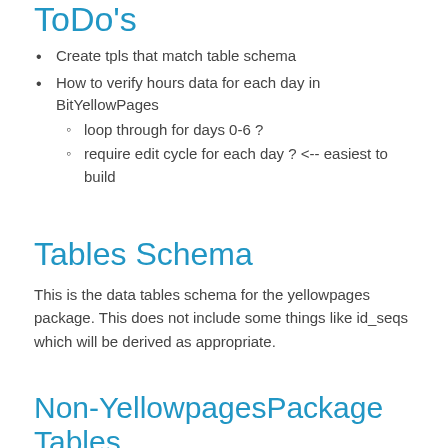ToDo's
Create tpls that match table schema
How to verify hours data for each day in BitYellowPages
loop through for days 0-6 ?
require edit cycle for each day ? <-- easiest to build
Tables Schema
This is the data tables schema for the yellowpages package. This does not include some things like id_seqs which will be derived as appropriate.
Non-YellowpagesPackage Tables
liberty_content
tracks user ownership of the listing
holds title, description, body text
etc, magical liberty structure
geo
adds global position data